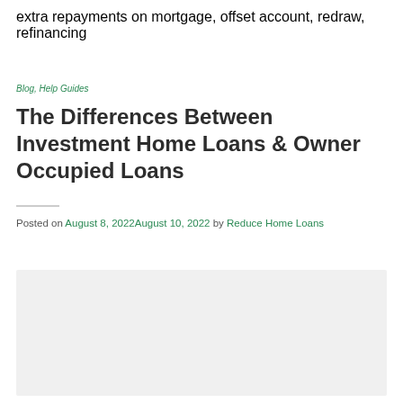extra repayments on mortgage, offset account, redraw, refinancing
Blog, Help Guides
The Differences Between Investment Home Loans & Owner Occupied Loans
Posted on August 8, 2022August 10, 2022 by Reduce Home Loans
[Figure (photo): Article header image placeholder (light gray background)]